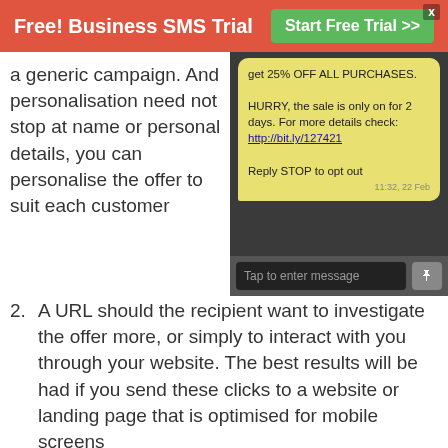Free! Business SMS Trial   Start Free Trial >>
a generic campaign. And personalisation need not stop at name or personal details, you can personalise the offer to suit each customer
[Figure (screenshot): Mobile phone SMS conversation screenshot showing a text message with yellow bubble: 'get 25% OFF ALL PURCHASES. HURRY, the sale is only on for 2 days. For more details check: http://bit.ly/127421  Reply STOP to opt out' timestamped 11:32, 22 Feb. Below is a dark input bar with 'Tap to enter message' placeholder.]
2. A URL should the recipient want to investigate the offer more, or simply to interact with you through your website. The best results will be had if you send these clicks to a website or landing page that is optimised for mobile screens
3. The SMS opt-out mechanism which is automatically handled through directSMS' systems ensuring you